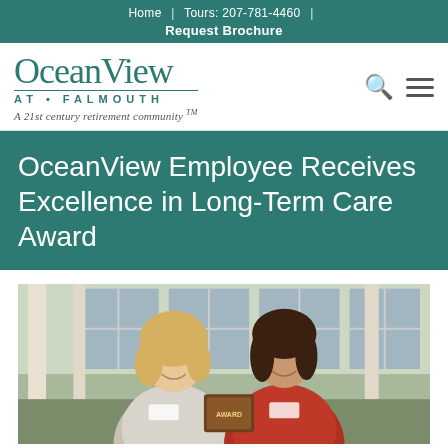Home | Tours: 207-781-4460 | Request Brochure
[Figure (logo): OceanView AT • FALMOUTH logo with tagline 'A 21st century retirement community ™']
OceanView Employee Receives Excellence in Long-Term Care Award
[Figure (photo): Two smiling women posing together, one blonde in white/gray, one brunette in red patterned top, holding an award plaque, standing in front of white columns and windows]